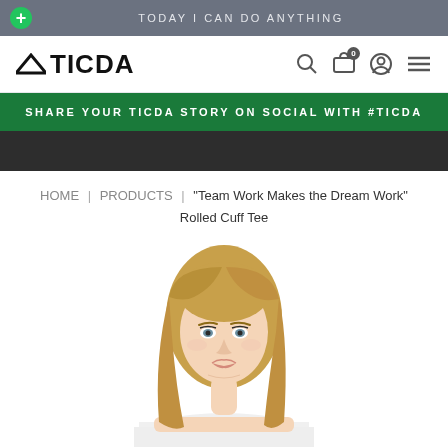TODAY I CAN DO ANYTHING
[Figure (logo): TICDA brand logo with mountain/chevron icon and navigation icons (search, cart, account, menu)]
SHARE YOUR TICDA STORY ON SOCIAL WITH #TICDA
HOME | PRODUCTS | "Team Work Makes the Dream Work" Rolled Cuff Tee
[Figure (photo): Woman with blonde hair wearing a white rolled cuff t-shirt, photographed from chest up against a white background]